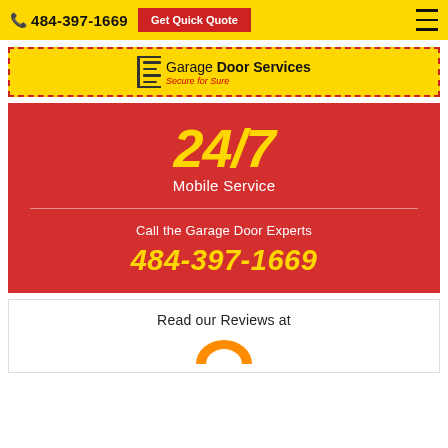484-397-1669  Get Quick Quote
[Figure (logo): Garage Door Services logo with bracket icon and tagline 'Secure for Sure' on yellow background with red dashed border]
24/7 Mobile Service
Call the Garage Door Experts
484-397-1669
Read our Reviews at